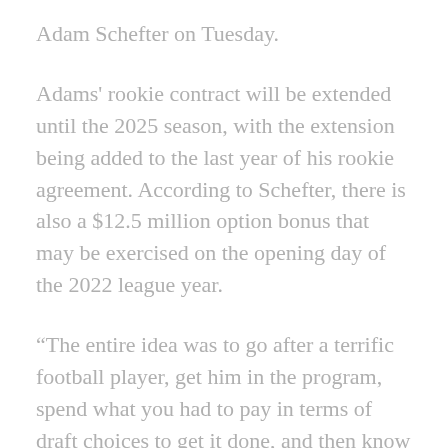Adam Schefter on Tuesday.
Adams' rookie contract will be extended until the 2025 season, with the extension being added to the last year of his rookie agreement. According to Schefter, there is also a $12.5 million option bonus that may be exercised on the opening day of the 2022 league year.
“The entire idea was to go after a terrific football player, get him in the program, spend what you had to pay in terms of draft choices to get it done, and then know that we were going to execute a deal,” Carroll said. “It took a long time to finish, but it’s finally done.”
Early this offseason, the Seahawks began negotiating with Adams’ agents, and a source told ESPN that their initial